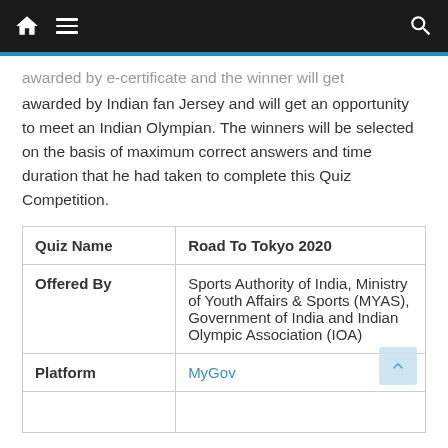Navigation bar with home, menu, and search icons
awarded by e-certificate and the winner will get awarded by Indian fan Jersey and will get an opportunity to meet an Indian Olympian. The winners will be selected on the basis of maximum correct answers and time duration that he had taken to complete this Quiz Competition.
| Quiz Name | Road To Tokyo 2020 |
| --- | --- |
| Quiz Name | Road To Tokyo 2020 |
| Offered By | Sports Authority of India, Ministry of Youth Affairs & Sports (MYAS), Government of India and Indian Olympic Association (IOA) |
| Platform | MyGov |